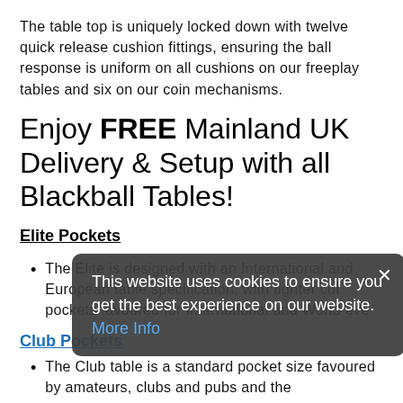The table top is uniquely locked down with twelve quick release cushion fittings, ensuring the ball response is uniform on all cushions on our freeplay tables and six on our coin mechanisms.
Enjoy FREE Mainland UK Delivery & Setup with all Blackball Tables!
Elite Pockets
The Elite is designed with an International and European table specification, with tighter cut pockets favoured for International and World events.
Club Pockets
The Club table is a standard pocket size favoured by amateurs, clubs and pubs and the
This website uses cookies to ensure you get the best experience on our website. More Info